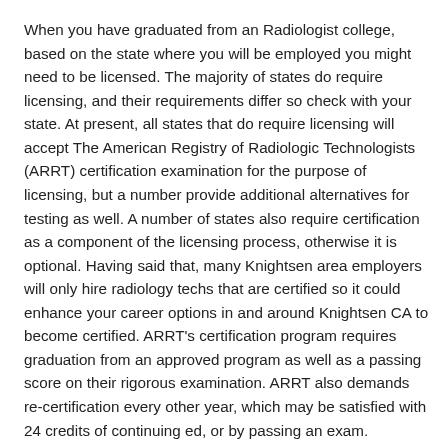When you have graduated from an Radiologist college, based on the state where you will be employed you might need to be licensed. The majority of states do require licensing, and their requirements differ so check with your state. At present, all states that do require licensing will accept The American Registry of Radiologic Technologists (ARRT) certification examination for the purpose of licensing, but a number provide additional alternatives for testing as well. A number of states also require certification as a component of the licensing process, otherwise it is optional. Having said that, many Knightsen area employers will only hire radiology techs that are certified so it could enhance your career options in and around Knightsen CA to become certified. ARRT's certification program requires graduation from an approved program as well as a passing score on their rigorous examination. ARRT also demands re-certification every other year, which may be satisfied with 24 credits of continuing ed, or by passing an exam.